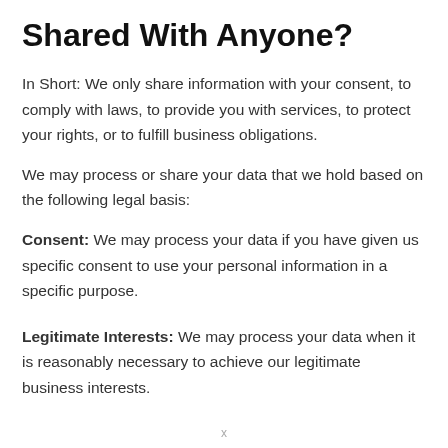Shared With Anyone?
In Short: We only share information with your consent, to comply with laws, to provide you with services, to protect your rights, or to fulfill business obligations.
We may process or share your data that we hold based on the following legal basis:
Consent: We may process your data if you have given us specific consent to use your personal information in a specific purpose.
Legitimate Interests: We may process your data when it is reasonably necessary to achieve our legitimate business interests.
x